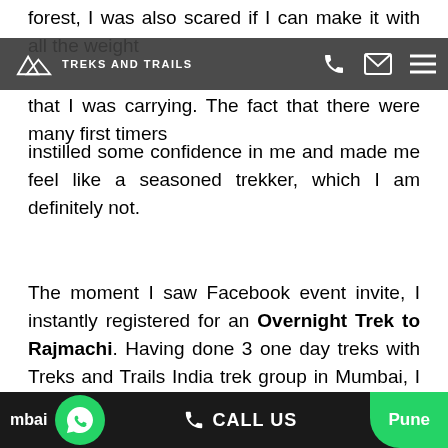TREKS AND TRAILS
forest, I was also scared if I can make it with all the weight that I was carrying. The fact that there were many first timers instilled some confidence in me and made me feel like a seasoned trekker, which I am definitely not.
The moment I saw Facebook event invite, I instantly registered for an Overnight Trek to Rajmachi. Having done 3 one day treks with Treks and Trails India trek group in Mumbai, I was extremely excited about it obviously because it was my first overnight trek near Mumbai. I was over planning and over packing. But not everyone shared my excitement because many people who have never trekked
mbai  CALL US  Pune